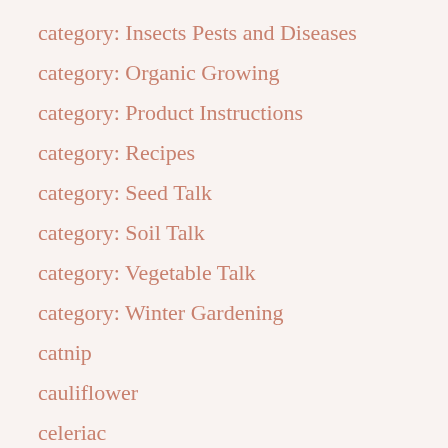category: Insects Pests and Diseases
category: Organic Growing
category: Product Instructions
category: Recipes
category: Seed Talk
category: Soil Talk
category: Vegetable Talk
category: Winter Gardening
catnip
cauliflower
celeriac
celery
cherry-tomato
chilli